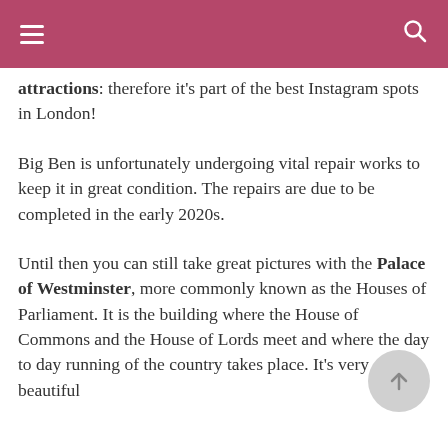[navigation bar with menu and search icons]
attractions: therefore it's part of the best Instagram spots in London!
Big Ben is unfortunately undergoing vital repair works to keep it in great condition. The repairs are due to be completed in the early 2020s.
Until then you can still take great pictures with the Palace of Westminster, more commonly known as the Houses of Parliament. It is the building where the House of Commons and the House of Lords meet and where the day to day running of the country takes place. It's very beautiful